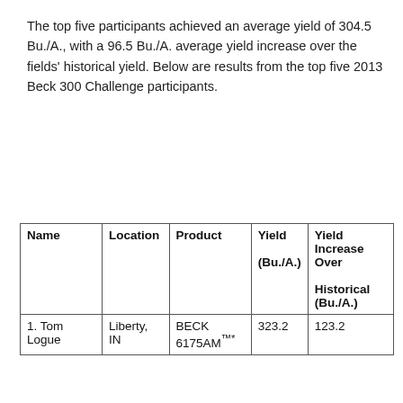The top five participants achieved an average yield of 304.5 Bu./A., with a 96.5 Bu./A. average yield increase over the fields' historical yield. Below are results from the top five 2013 Beck 300 Challenge participants.
| Name | Location | Product | Yield (Bu./A.) | Yield Increase Over Historical (Bu./A.) |
| --- | --- | --- | --- | --- |
| 1. Tom Logue | Liberty, IN | BECK 6175AM™* | 323.2 | 123.2 |